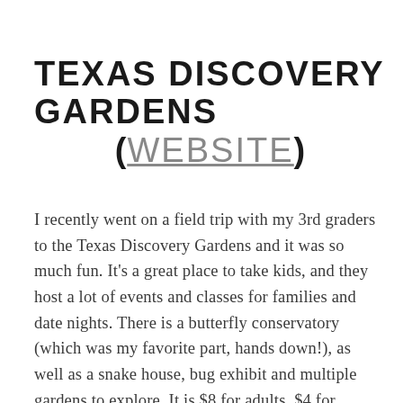TEXAS DISCOVERY GARDENS (WEBSITE)
I recently went on a field trip with my 3rd graders to the Texas Discovery Gardens and it was so much fun. It's a great place to take kids, and they host a lot of events and classes for families and date nights. There is a butterfly conservatory (which was my favorite part, hands down!), as well as a snake house, bug exhibit and multiple gardens to explore. It is $8 for adults, $4 for children (ages 3-11) and free for children under 3.